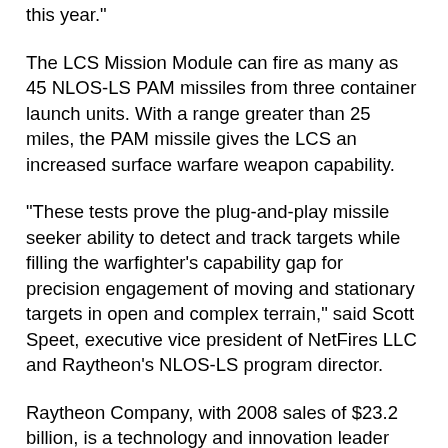this year."
The LCS Mission Module can fire as many as 45 NLOS-LS PAM missiles from three container launch units. With a range greater than 25 miles, the PAM missile gives the LCS an increased surface warfare weapon capability.
"These tests prove the plug-and-play missile seeker ability to detect and track targets while filling the warfighter's capability gap for precision engagement of moving and stationary targets in open and complex terrain," said Scott Speet, executive vice president of NetFires LLC and Raytheon's NLOS-LS program director.
Raytheon Company, with 2008 sales of $23.2 billion, is a technology and innovation leader specializing in defense, homeland security and other government markets throughout the world. With a history of innovation spanning